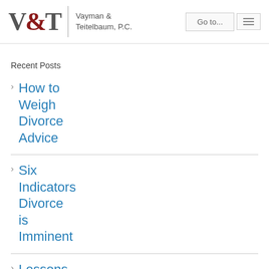V&T Vayman & Teitelbaum, P.C.
Recent Posts
How to Weigh Divorce Advice
Six Indicators Divorce is Imminent
Lessons Learned From Netflix's Marriage...